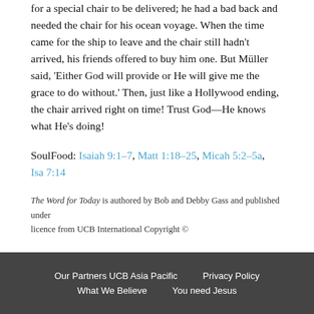for a special chair to be delivered; he had a bad back and needed the chair for his ocean voyage. When the time came for the ship to leave and the chair still hadn't arrived, his friends offered to buy him one. But Müller said, 'Either God will provide or He will give me the grace to do without.' Then, just like a Hollywood ending, the chair arrived right on time! Trust God—He knows what He's doing!
SoulFood: Isaiah 9:1–7, Matt 1:18–25, Micah 5:2–5a, Isa 7:14
The Word for Today is authored by Bob and Debby Gass and published under licence from UCB International Copyright ©
Our Partners UCB Asia Pacific | Privacy Policy | What We Believe | You need Jesus